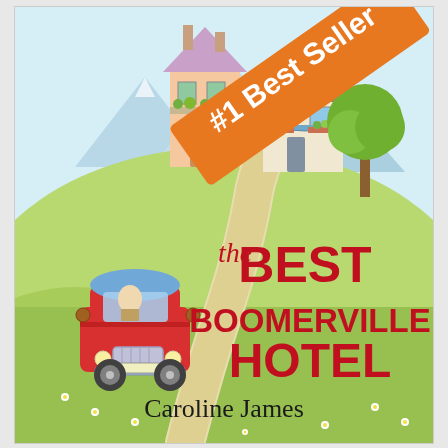[Figure (illustration): Book cover for 'The Best Boomerville Hotel' by Caroline James. Illustrated cover showing a charming countryside scene with rolling green hills, a winding path, two picturesque buildings (a tall pink house and a smaller cottage), blue mountains in the background, a green tree to the right, and a red vintage bus/car driving along the path. An orange diagonal banner in the upper right reads '#1 Best Seller'. The book title 'the BEST BOOMERVILLE HOTEL' is displayed in large red text in the lower center of the cover, with 'the' in a cursive red script and 'BEST', 'BOOMERVILLE', 'HOTEL' in bold red capitals. The author name 'Caroline James' appears at the bottom in black serif font.]